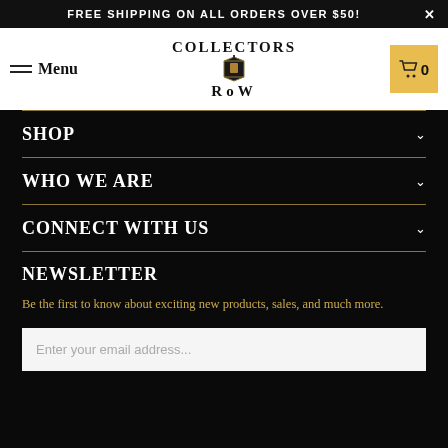FREE SHIPPING ON ALL ORDERS OVER $50!
[Figure (logo): Collectors Row logo with lantern illustration, text reads COLLECTORS ROW]
SHOP
WHO WE ARE
CONNECT WITH US
NEWSLETTER
Be the first to know about exciting new products, sales, and much more.
Enter your email address...